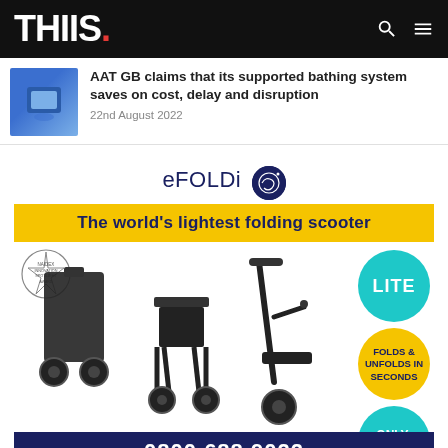THIIS.
AAT GB claims that its supported bathing system saves on cost, delay and disruption
22nd August 2022
[Figure (infographic): eFOLDi advertisement showing the world's lightest folding scooter in three configurations (folded as luggage, chair form, and unfolded scooter), with product claims: LITE, FOLDS & UNFOLDS IN SECONDS, ONLY 15kg*, phone number 0800 688 9022, website www.efoldi.com and sales@efoldi.com]